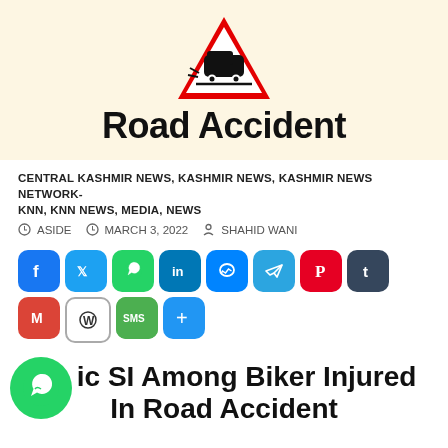[Figure (illustration): Road accident warning sign: red triangle with white background, black car skidding icon, with 'Road Accident' text below in bold black on cream background]
CENTRAL KASHMIR NEWS, KASHMIR NEWS, KASHMIR NEWS NETWORK-KNN, KNN NEWS, MEDIA, NEWS
ASIDE   MARCH 3, 2022   SHAHID WANI
[Figure (infographic): Social share buttons row: Facebook (blue), Twitter (light blue), WhatsApp (green), LinkedIn (dark blue), Messenger (blue), Telegram (light blue), Pinterest (red), Tumblr (dark), Gmail (red), WordPress (grey/white), SMS (green), More/Share (blue plus)]
Traffic SI Among Biker Injured In Road Accident